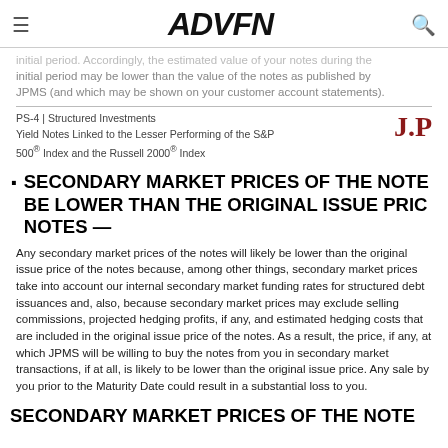ADVFN
initial period. Accordingly, the estimated value of your notes during the initial period may be lower than the value of the notes as published by JPMS (and which may be shown on your customer account statements).
PS-4 | Structured Investments
Yield Notes Linked to the Lesser Performing of the S&P 500® Index and the Russell 2000® Index
SECONDARY MARKET PRICES OF THE NOTES MAY BE LOWER THAN THE ORIGINAL ISSUE PRICE OF THE NOTES —
Any secondary market prices of the notes will likely be lower than the original issue price of the notes because, among other things, secondary market prices take into account our internal secondary market funding rates for structured debt issuances and, also, because secondary market prices may exclude selling commissions, projected hedging profits, if any, and estimated hedging costs that are included in the original issue price of the notes. As a result, the price, if any, at which JPMS will be willing to buy the notes from you in secondary market transactions, if at all, is likely to be lower than the original issue price. Any sale by you prior to the Maturity Date could result in a substantial loss to you.
SECONDARY MARKET PRICES OF THE NOTE…